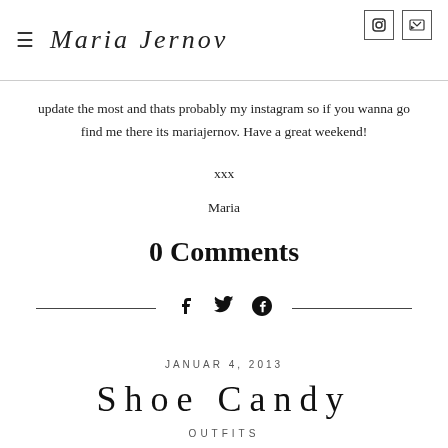Maria Jernov
update the most and thats probably my instagram so if you wanna go find me there its mariajernov. Have a great weekend!
xxx
Maria
0 Comments
f  ✓  Ⓟ
JANUAR 4, 2013
Shoe Candy
OUTFITS